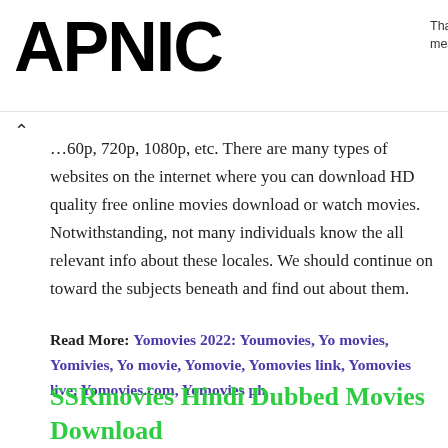APNIC
Thank you for helping us measure the Internet.
...60p, 720p, 1080p, etc. There are many types of websites on the internet where you can download HD quality free online movies download or watch movies. Notwithstanding, not many individuals know the all relevant info about these locales. We should continue on toward the subjects beneath and find out about them.
Read More: Yomovies 2022: Youmovies, Yo movies, Yomivies, Yo movie, Yomovie, Yomovies link, Yomovies live, Yomovies.com, Yomovies ph
SSRmovies Hindi Dubbed Movies Download